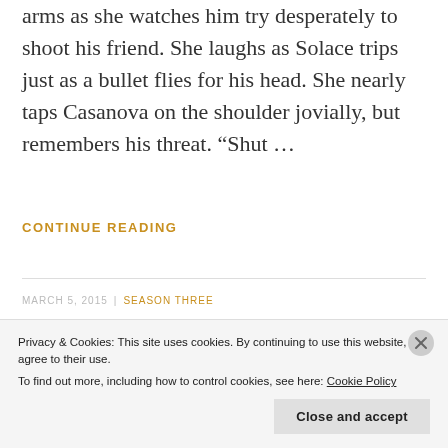arms as she watches him try desperately to shoot his friend. She laughs as Solace trips just as a bullet flies for his head. She nearly taps Casanova on the shoulder jovially, but remembers his threat. “Shut …
CONTINUE READING
MARCH 5, 2015 | SEASON THREE
Privacy & Cookies: This site uses cookies. By continuing to use this website, you agree to their use.
To find out more, including how to control cookies, see here: Cookie Policy
Close and accept